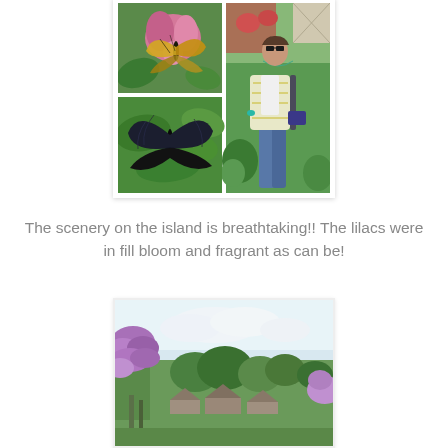[Figure (photo): Collage of butterfly garden photos: top-left shows a butterfly on a pink flower with green leaves, top-right and bottom-right show a woman in a striped cardigan standing among flowering plants, bottom-left shows a large black butterfly with spread wings on green leaves.]
The scenery on the island is breathtaking!! The lilacs were in fill bloom and fragrant as can be!
[Figure (photo): Outdoor scenic photo showing blooming lilac trees in the foreground with purple flowers, green trees, rooftops, and a partly cloudy sky in the background.]